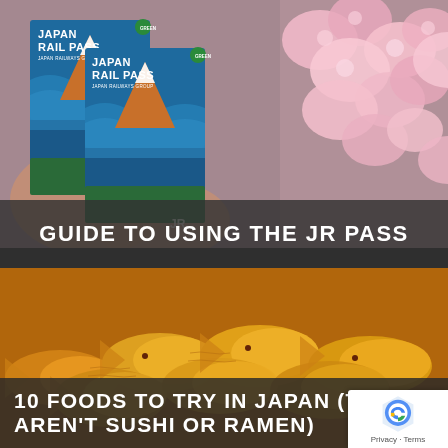[Figure (photo): Two Japan Rail Pass cards held up against cherry blossom flowers in background. Cards show Mt. Fuji graphic with text JAPAN RAIL PASS and JAPAN RAILWAYS GROUP.]
GUIDE TO USING THE JR PASS
[Figure (photo): Close-up photo of golden-brown taiyaki (Japanese fish-shaped waffle cakes) stacked together.]
10 FOODS TO TRY IN JAPAN (THAT AREN'T SUSHI OR RAMEN)